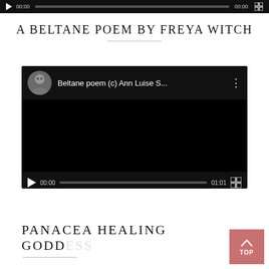[Figure (screenshot): Top video player bar from previous video, showing play button, 00:00 timestamp, progress bar, and fullscreen icon on black background]
A BELTANE POEM BY FREYA WITCH
[Figure (screenshot): Embedded YouTube-style video player showing 'Beltane poem (c) Ann Luise S...' with a male avatar thumbnail, black video area, and controls showing 00:00 / 01:01]
PANACEA HEALING GODDESS